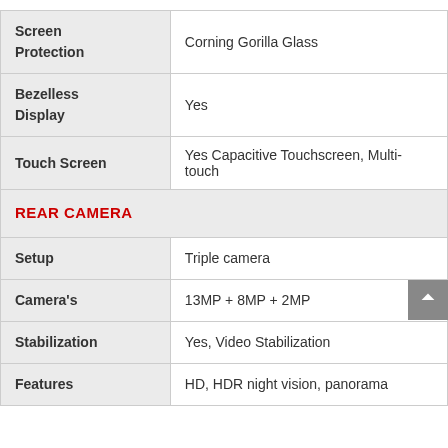| Attribute | Value |
| --- | --- |
| Screen Protection | Corning Gorilla Glass |
| Bezelless Display | Yes |
| Touch Screen | Yes Capacitive Touchscreen, Multi-touch |
| REAR CAMERA |  |
| Setup | Triple camera |
| Camera's | 13MP + 8MP + 2MP |
| Stabilization | Yes, Video Stabilization |
| Features | HD, HDR night vision, panorama |